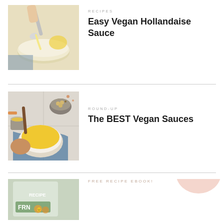[Figure (photo): Photo of a spoon pouring creamy hollandaise sauce into a bowl, with a lemon in the background.]
RECIPES
Easy Vegan Hollandaise Sauce
[Figure (photo): Overhead photo of a bowl of golden yellow vegan sauce with chickpeas, spices, and toppings on a tile surface.]
ROUND-UP
The BEST Vegan Sauces
[Figure (photo): Partially visible promo image for a free recipe ebook with 'FRN' text and icons.]
FREE RECIPE EBOOK!